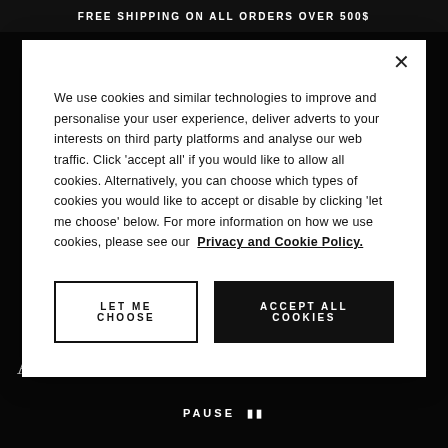FREE SHIPPING ON ALL ORDERS OVER 500$
We use cookies and similar technologies to improve and personalise your user experience, deliver adverts to your interests on third party platforms and analyse our web traffic. Click 'accept all' if you would like to allow all cookies. Alternatively, you can choose which types of cookies you would like to accept or disable by clicking 'let me choose' below. For more information on how we use cookies, please see our Privacy and Cookie Policy.
LET ME CHOOSE
ACCEPT ALL COOKIES
A MARRIAGE OF EXCELLENCE
PAUSE ‖